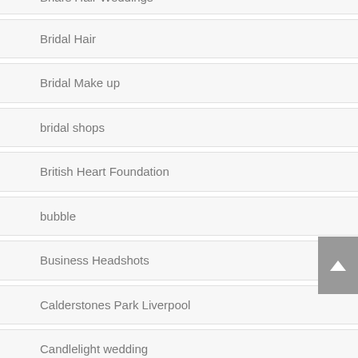Briars Hair Weddings
Bridal Hair
Bridal Make up
bridal shops
British Heart Foundation
bubble
Business Headshots
Calderstones Park Liverpool
Candlelight wedding